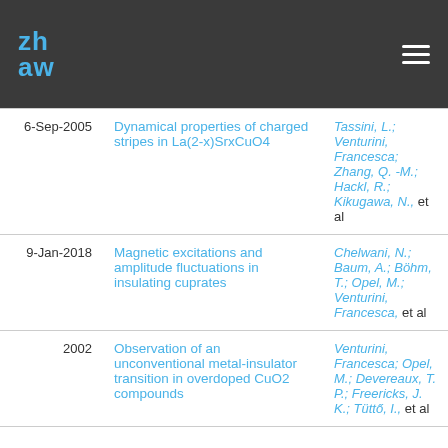ZHAW
| Date | Title | Authors |
| --- | --- | --- |
| 6-Sep-2005 | Dynamical properties of charged stripes in La(2-x)SrxCuO4 | Tassini, L.; Venturini, Francesca; Zhang, Q. -M.; Hackl, R.; Kikugawa, N., et al |
| 9-Jan-2018 | Magnetic excitations and amplitude fluctuations in insulating cuprates | Chelwani, N.; Baum, A.; Böhm, T.; Opel, M.; Venturini, Francesca, et al |
| 2002 | Observation of an unconventional metal-insulator transition in overdoped CuO2 compounds | Venturini, Francesca; Opel, M.; Devereaux, T. P.; Freericks, J. K.; Tüttő, I., et al |